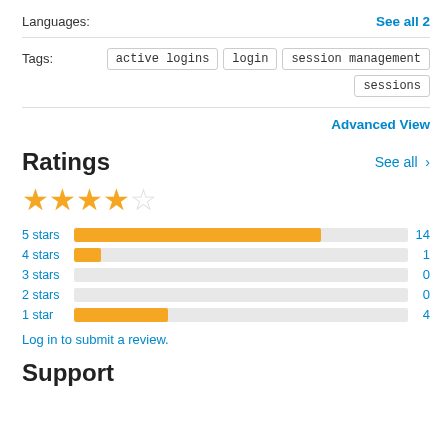Languages:
See all 2
Tags:
active logins
login
session management
sessions
Advanced View
Ratings
See all >
[Figure (other): 4 filled gold stars and 1 empty star representing a ~4 star rating]
[Figure (bar-chart): Ratings distribution]
Log in to submit a review.
Support